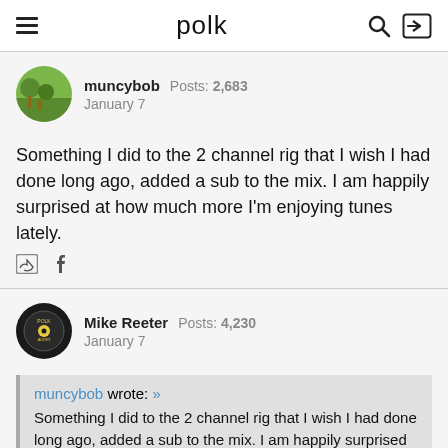polk
muncybob  Posts: 2,683
January 7
Something I did to the 2 channel rig that I wish I had done long ago, added a sub to the mix. I am happily surprised at how much more I'm enjoying tunes lately.
Mike Reeter  Posts: 4,230
January 7
muncybob wrote: »
Something I did to the 2 channel rig that I wish I had done long ago, added a sub to the mix. I am happily surprised at how much more I'm enjoying tunes lately.